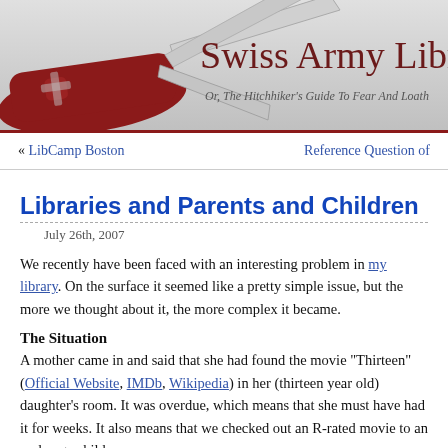[Figure (illustration): Swiss Army knife illustration with red handle and silver blades open, serving as the blog header banner. Text overlay reads 'Swiss Army Libr...' and subtitle 'Or, The Hitchhiker's Guide To Fear And Loath...']
« LibCamp Boston    Reference Question of
Libraries and Parents and Children
July 26th, 2007
We recently have been faced with an interesting problem in my library. On the surface it seemed like a pretty simple issue, but the more we thought about it, the more complex it became.
The Situation
A mother came in and said that she had found the movie "Thirteen" (Official Website, IMDb, Wikipedia) in her (thirteen year old) daughter's room. It was overdue, which means that she must have had it for weeks. It also means that we checked out an R-rated movie to an underage child.
The mother was angry that her child could have checked out such a movie, and didn't understand why the library wasn't enforcing the MPAA